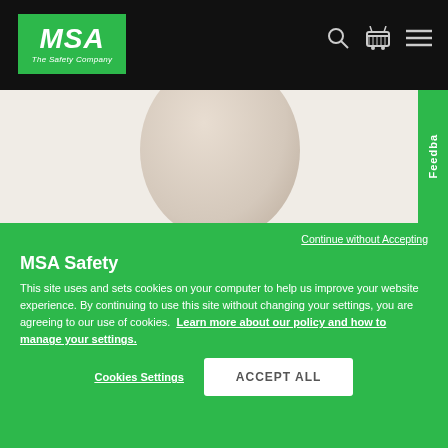[Figure (logo): MSA Safety Company logo — white MSA text on green background with italic 'The Safety Company' tagline]
[Figure (photo): Partial view of a round safety helmet/hard hat in beige/tan color on white background]
Continue without Accepting
MSA Safety
This site uses and sets cookies on your computer to help us improve your website experience. By continuing to use this site without changing your settings, you are agreeing to our use of cookies.  Learn more about our policy and how to manage your settings.
Cookies Settings
ACCEPT ALL